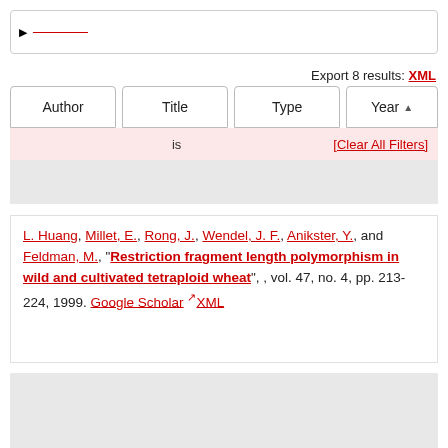▶ ___
Export 8 results: XML
| Author | Title | Type | Year ▲ |
| --- | --- | --- | --- |
is    [Clear All Filters]
L. Huang, Millet, E., Rong, J., Wendel, J. F., Anikster, Y., and Feldman, M., "Restriction fragment length polymorphism in wild and cultivated tetraploid wheat", , vol. 47, no. 4, pp. 213-224, 1999. Google Scholar XML